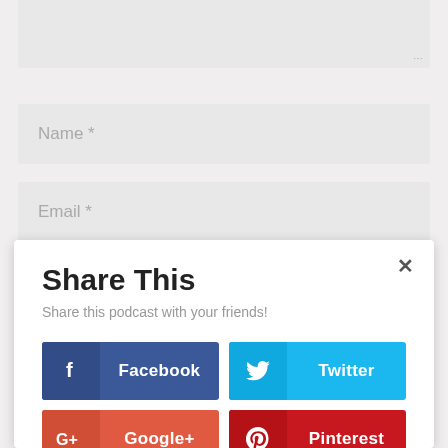[Figure (screenshot): Textarea form field (partially visible, top of page) with resize handle in bottom-right corner]
Name *
Email *
Share This
Share this podcast with your friends!
[Figure (infographic): Four social share buttons: Facebook (dark blue), Twitter (light blue), Google+ (orange-red), Pinterest (dark red), each with icon and label]